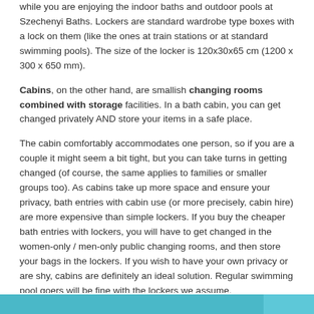while you are enjoying the indoor baths and outdoor pools at Szechenyi Baths. Lockers are standard wardrobe type boxes with a lock on them (like the ones at train stations or at standard swimming pools). The size of the locker is 120x30x65 cm (1200 x 300 x 650 mm).
Cabins, on the other hand, are smallish changing rooms combined with storage facilities. In a bath cabin, you can get changed privately AND store your items in a safe place.
The cabin comfortably accommodates one person, so if you are a couple it might seem a bit tight, but you can take turns in getting changed (of course, the same applies to families or smaller groups too). As cabins take up more space and ensure your privacy, bath entries with cabin use (or more precisely, cabin hire) are more expensive than simple lockers. If you buy the cheaper bath entries with lockers, you will have to get changed in the women-only / men-only public changing rooms, and then store your bags in the lockers. If you wish to have your own privacy or are shy, cabins are definitely an ideal solution. Regular swimming pool goers will be fine with the lockers we assume.